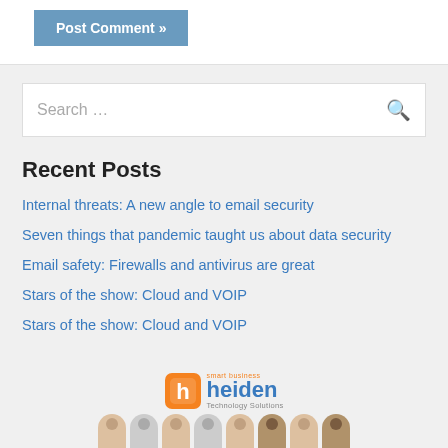Post Comment »
Search ...
Recent Posts
Internal threats: A new angle to email security
Seven things that pandemic taught us about data security
Email safety: Firewalls and antivirus are great
Stars of the show: Cloud and VOIP
Stars of the show: Cloud and VOIP
[Figure (logo): Heiden Technology Solutions logo with group of people photo below]